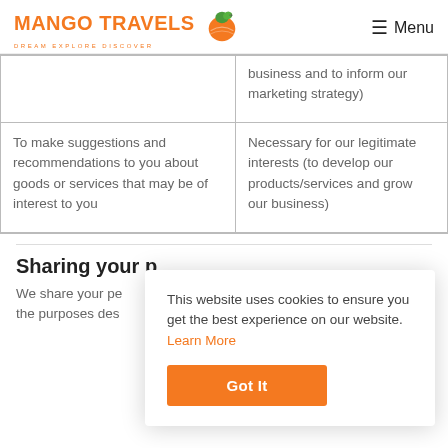MANGO TRAVELS — DREAM EXPLORE DISCOVER — Menu
|  |  |
| --- | --- |
|  | business and to inform our marketing strategy) |
| To make suggestions and recommendations to you about goods or services that may be of interest to you | Necessary for our legitimate interests (to develop our products/services and grow our business) |
Sharing your p
We share your pe... the purposes des...
This website uses cookies to ensure you get the best experience on our website. Learn More
Got It